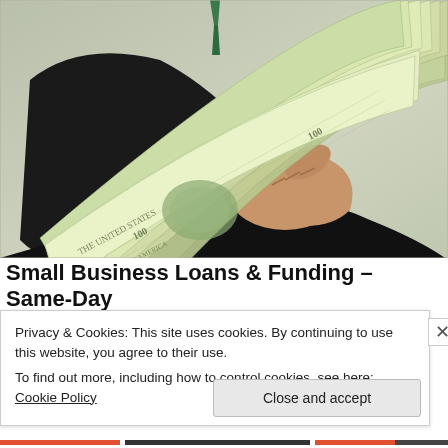[Figure (photo): A person in a dark business suit holding out a large fan of US $100 dollar bills toward the viewer, photographed against a light grayish-green background.]
Small Business Loans & Funding – Same-Day
Privacy & Cookies: This site uses cookies. By continuing to use this website, you agree to their use.
To find out more, including how to control cookies, see here: Cookie Policy
Close and accept